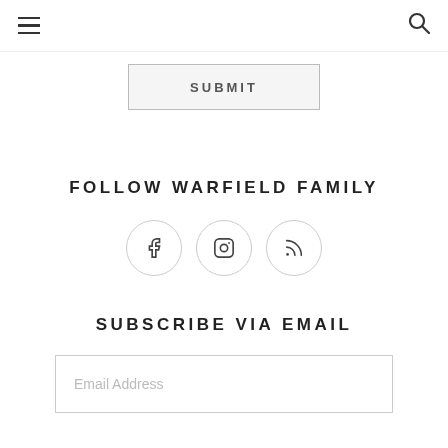hamburger menu | search icon
SUBMIT
FOLLOW WARFIELD FAMILY
[Figure (other): Three social media icon circles: Facebook (f), Instagram (camera/box icon), RSS feed icon]
SUBSCRIBE VIA EMAIL
Email Address